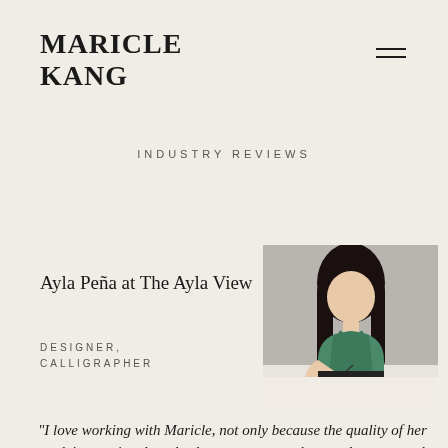MARICLE KANG
INDUSTRY REVIEWS
Ayla Peña at The Ayla View
DESIGNER, CALLIGRAPHER
[Figure (photo): Portrait photo of a woman with long dark hair wearing a green top, sitting at a desk writing with a pen, against a light grey background.]
"I love working with Maricle, not only because the quality of her work is amazing, but also because respects her vendor team and values each of their